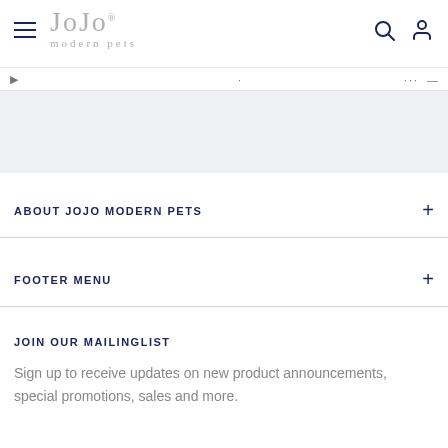[Figure (logo): JoJo Modern Pets logo with hamburger menu, search and account icons in header]
ABOUT JOJO MODERN PETS
FOOTER MENU
JOIN OUR MAILINGLIST
Sign up to receive updates on new product announcements, special promotions, sales and more.